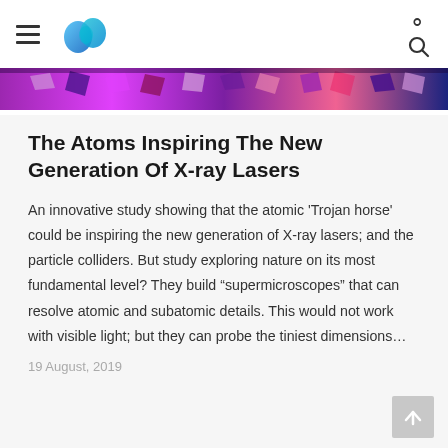[Figure (photo): Colorful abstract image strip showing purple and pink atomic or microscopic imagery used as hero banner]
The Atoms Inspiring The New Generation Of X-ray Lasers
An innovative study showing that the atomic 'Trojan horse' could be inspiring the new generation of X-ray lasers; and the particle colliders. But study exploring nature on its most fundamental level? They build “supermicroscopes” that can resolve atomic and subatomic details. This would not work with visible light; but they can probe the tiniest dimensions…
19 August, 2019